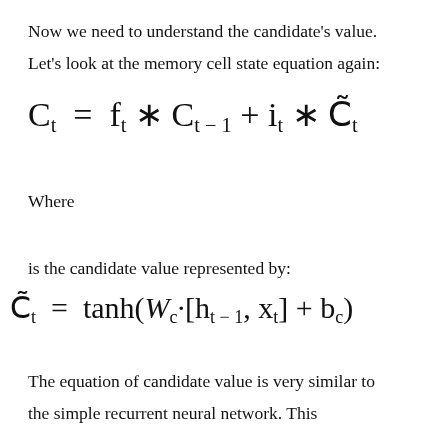Now we need to understand the candidate's value.
Let's look at the memory cell state equation again:
Where
is the candidate value represented by:
The equation of candidate value is very similar to the simple recurrent neural network. This